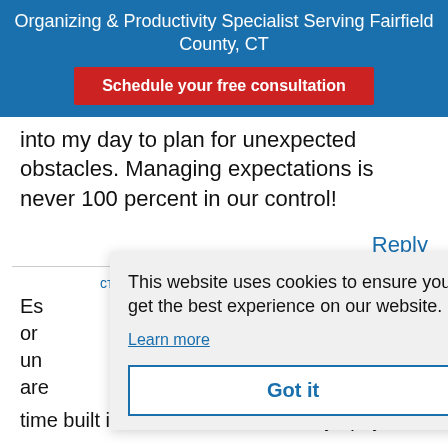Organizing & Productivity Specialist Serving Fairfield County, CT
Schedule your free consultation
into my day to plan for unexpected obstacles. Managing expectations is never 100 percent in our control!
Reply
Es
or
un
are
This website uses cookies to ensure you get the best experience on our website.
Learn more
Got it
time built into the schedule, it always pays off!